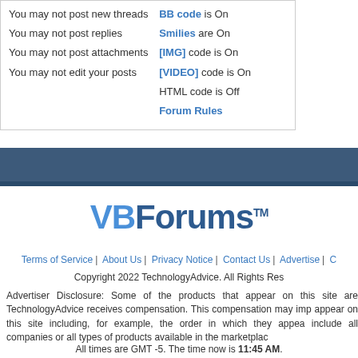You may not post new threads
You may not post replies
You may not post attachments
You may not edit your posts
BB code is On
Smilies are On
[IMG] code is On
[VIDEO] code is On
HTML code is Off
Forum Rules
[Figure (other): VBForums logo with TM mark]
Terms of Service | About Us | Privacy Notice | Contact Us | Advertise | C...
Copyright 2022 TechnologyAdvice. All Rights Res...
Advertiser Disclosure: Some of the products that appear on this site are... TechnologyAdvice receives compensation. This compensation may imp... appear on this site including, for example, the order in which they appea... include all companies or all types of products available in the marketplac...
All times are GMT -5. The time now is 11:45 AM.